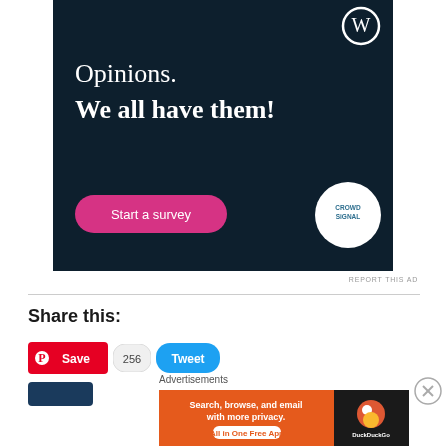[Figure (infographic): WordPress/Crowdsignal advertisement banner with dark navy background. Shows 'Opinions. We all have them!' text, a 'Start a survey' pink button, Crowdsignal logo circle, and WordPress logo in top right.]
REPORT THIS AD
Share this:
[Figure (infographic): Social sharing buttons: Pinterest Save button in red, 256 count badge, and Tweet button in blue.]
Advertisements
[Figure (infographic): DuckDuckGo advertisement banner: orange background with text 'Search, browse, and email with more privacy. All in One Free App' and DuckDuckGo logo on dark right panel.]